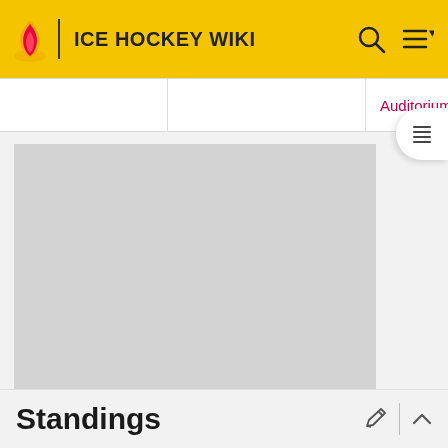ICE HOCKEY WIKI
|  |  | Auditorium |
| --- | --- | --- |
|  |
[Figure (other): Advertisement placeholder gray rectangle]
ADVERTISEMENT
Standings